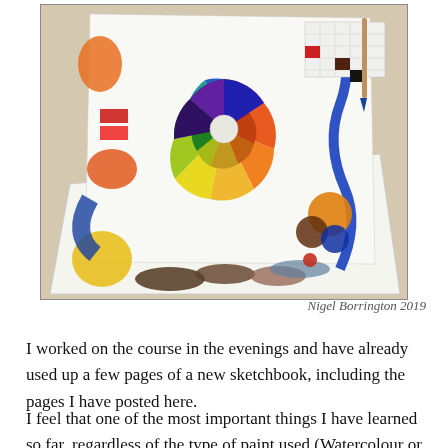[Figure (photo): Photograph of watercolour sketchbook pages showing a colour wheel painted in watercolour, along with various paint swatches and experiments on white paper. A paintbrush is visible on the right side. Attribution: Nigel Borrington 2019.]
Nigel Borrington 2019
I worked on the course in the evenings and have already used up a few pages of a new sketchbook, including the pages I have posted here.
I feel that one of the most important things I have learned so far, regardless of the type of paint used (Watercolour or Acrylic) is that I am getting to know them very well, how to